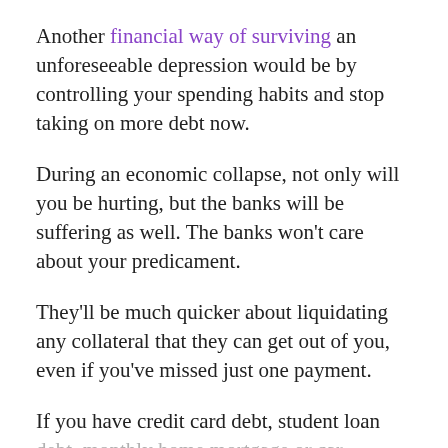Another financial way of surviving an unforeseeable depression would be by controlling your spending habits and stop taking on more debt now.
During an economic collapse, not only will you be hurting, but the banks will be suffering as well. The banks won't care about your predicament.
They'll be much quicker about liquidating any collateral that they can get out of you, even if you've missed just one payment.
If you have credit card debt, student loan debt, monthly home mortgage or car payments, get them paid off as quickly as you